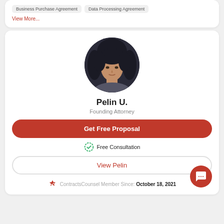Business Purchase Agreement  Data Processing Agreement
View More...
[Figure (photo): Circular headshot of Pelin U., a woman with dark hair against a dark background]
Pelin U.
Founding Attorney
Get Free Proposal
Free Consultation
View Pelin
ContractsCounsel Member Since: October 18, 2021